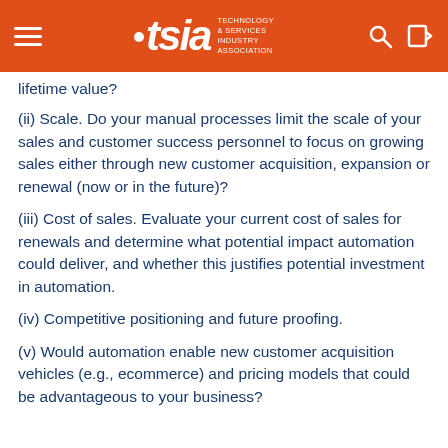TSIA – Technology & Services Industry Association
lifetime value?
(ii) Scale. Do your manual processes limit the scale of your sales and customer success personnel to focus on growing sales either through new customer acquisition, expansion or renewal (now or in the future)?
(iii) Cost of sales. Evaluate your current cost of sales for renewals and determine what potential impact automation could deliver, and whether this justifies potential investment in automation.
(iv) Competitive positioning and future proofing.
(v) Would automation enable new customer acquisition vehicles (e.g., ecommerce) and pricing models that could be advantageous to your business?